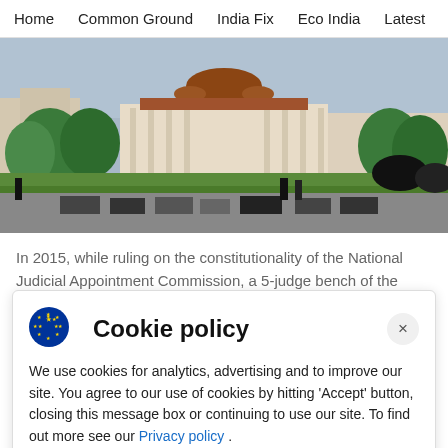Home  Common Ground  India Fix  Eco India  Latest  Th
[Figure (photo): Exterior photograph of the Supreme Court of India building in New Delhi, showing the main dome and colonnade with trees, parked cars, and people in the foreground.]
In 2015, while ruling on the constitutionality of the National Judicial Appointment Commission, a 5-judge bench of the
Cookie policy
We use cookies for analytics, advertising and to improve our site. You agree to our use of cookies by hitting ‘Accept’ button, closing this message box or continuing to use our site. To find out more see our Privacy policy .
Accept